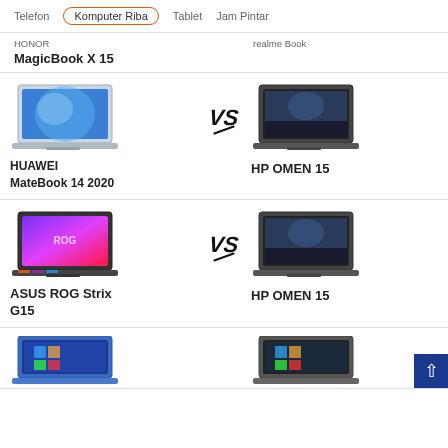Telefon | Komputer Riba | Tablet | Jam Pintar
HONOR MagicBook X 15 vs Realme Book
[Figure (screenshot): Comparison card: HUAWEI MateBook 14 2020 vs HP OMEN 15 with VS logo in center]
HUAWEI MateBook 14 2020
HP OMEN 15
[Figure (screenshot): Comparison card: ASUS ROG Strix G15 vs HP OMEN 15 with VS logo in center]
ASUS ROG Strix G15
HP OMEN 15
[Figure (screenshot): Partial comparison card at bottom of page showing two laptops]